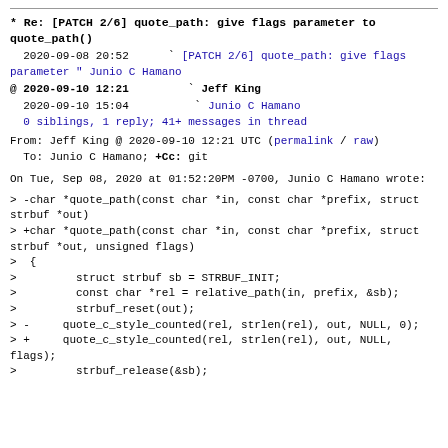* Re: [PATCH 2/6] quote_path: give flags parameter to quote_path()
2020-09-08 20:52    ` [PATCH 2/6] quote_path: give flags parameter " Junio C Hamano
@ 2020-09-10 12:21        ` Jeff King
  2020-09-10 15:04          ` Junio C Hamano
  0 siblings, 1 reply; 41+ messages in thread
From: Jeff King @ 2020-09-10 12:21 UTC (permalink / raw)
  To: Junio C Hamano; +Cc: git
On Tue, Sep 08, 2020 at 01:52:20PM -0700, Junio C Hamano wrote:
> -char *quote_path(const char *in, const char *prefix, struct strbuf *out)
> +char *quote_path(const char *in, const char *prefix, struct strbuf *out, unsigned flags)
>  {
>  	struct strbuf sb = STRBUF_INIT;
>  	const char *rel = relative_path(in, prefix, &sb);
>  	strbuf_reset(out);
> -	quote_c_style_counted(rel, strlen(rel), out, NULL, 0);
> +	quote_c_style_counted(rel, strlen(rel), out, NULL, flags);
>  	strbuf_release(&sb);